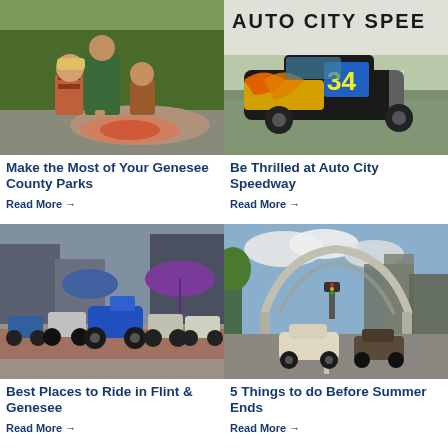[Figure (photo): Children and adult painting or drawing on a rock outdoors in a park setting]
Make the Most of Your Genesee County Parks
Read More →
[Figure (photo): Racing car number 34 at Auto City Speedway]
Be Thrilled at Auto City Speedway
Read More →
[Figure (photo): Motorcycles parked on a street at a rally event in Flint area]
Best Places to Ride in Flint & Genesee
Read More →
[Figure (photo): Classic cars driving through an arched gateway on a city street]
5 Things to do Before Summer Ends
Read More →